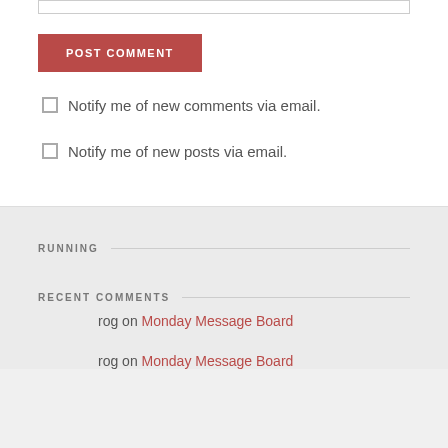POST COMMENT (button)
Notify me of new comments via email.
Notify me of new posts via email.
RUNNING
RECENT COMMENTS
rog on Monday Message Board
rog on Monday Message Board